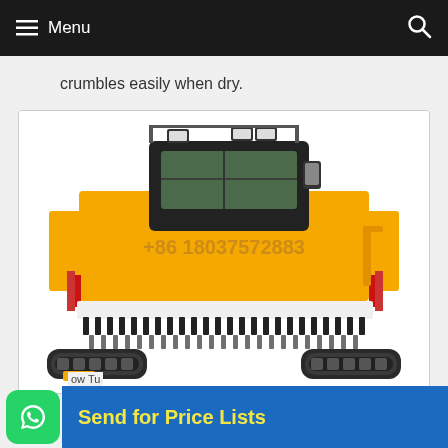Menu
crumbles easily when dry.
[Figure (photo): Yellow industrial compost turner / crawler machine photographed from the front, showing cab with lights on top, large front roller with tines, and tracked undercarriage. Phone number +86 18037572883 displayed on the body.]
ow Tu
Send for Price Lists